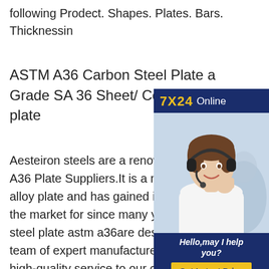following Prodect. Shapes. Plates. Bars. Thicknessin
ASTM A36 Carbon Steel Plate and Grade SA 36 Sheet/ Coil astm A36 plate
[Figure (infographic): 7X24 Online chat widget with a female customer service representative wearing a headset, and a 'Hello, may I help you?' message with a 'Get Latest Price' button]
Aesteiron steels are a renowned A36 Plate Suppliers.It is a multipurpose alloy plate and has gained its demand in the market for since many years. steel plate astm a36are designed by a team of expert manufacturers to provide high-quality service to our customers.It is made of premium quality raw material alloy. ASTM A36 Carbon Steel PlatesASTM A36 steel plates are actually a low carbon steel that is exhibiting very good strength that is coupled with